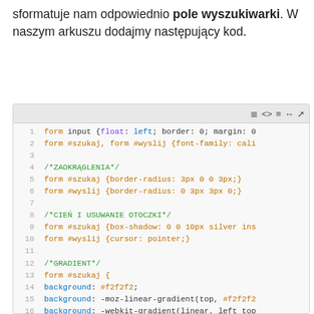sformatuje nam odpowiednio pole wyszukiwarki. W naszym arkuszu dodajmy następujący kod.
[Figure (screenshot): Code editor screenshot showing CSS code with syntax highlighting, lines 1-23, styling a form search widget with float, border, margin, font-family, border-radius, box-shadow, cursor, and gradient background properties.]